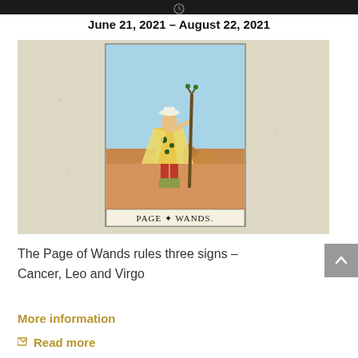June 21, 2021 – August 22, 2021
[Figure (illustration): Tarot card 'Page of Wands' showing a young figure in medieval clothing holding a tall wand/staff, standing in a desert landscape with pyramids in the background. The card has a light blue sky background and the label 'PAGE of WANDS.' at the bottom.]
The Page of Wands rules three signs – Cancer, Leo and Virgo
More information
Read more